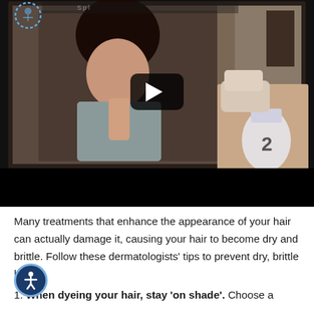[Figure (photo): Video thumbnail showing a woman in a bathroom applying hair dye product, viewed in a mirror reflection. A play button overlay is visible in the center. The right side shows hands holding a hair dye bottle labeled '2'. The bottom of the video has a black control bar.]
Many treatments that enhance the appearance of your hair can actually damage it, causing your hair to become dry and brittle. Follow these dermatologists' tips to prevent dry, brittle hair:
1. When dyeing your hair, stay 'on shade'. Choose a